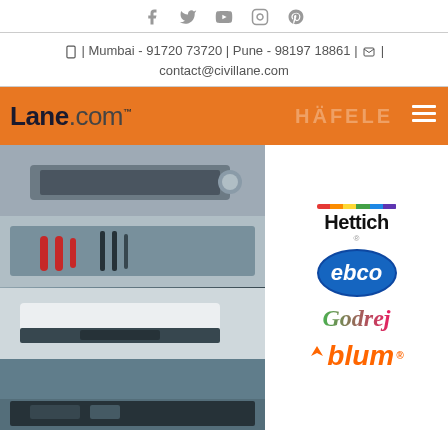Social media icons: Facebook, Twitter, YouTube, Instagram, Pinterest
| Mumbai - 91720 73720 | Pune - 98197 18861 | [mail icon] | contact@civillane.com
[Figure (screenshot): Orange navigation banner with Lane.com logo, Hafele branding in background, and hamburger menu icon]
[Figure (photo): Collage of kitchen drawer/organizer product photos showing cutlery inserts, red-handled utensils, modular drawer systems, and dark kitchen storage drawers]
[Figure (logo): Hettich brand logo with rainbow stripe]
[Figure (logo): ebco brand logo in blue oval]
[Figure (logo): Godrej brand logo in green/pink]
[Figure (logo): blum brand logo in orange]